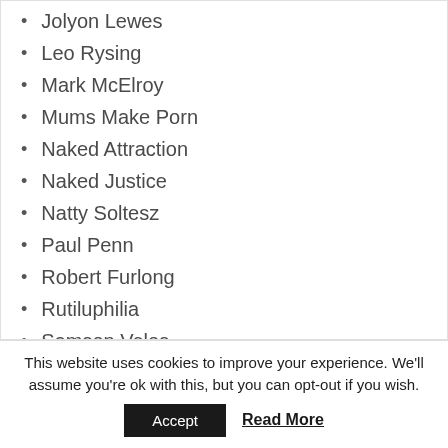Jolyon Lewes
Leo Rysing
Mark McElroy
Mums Make Porn
Naked Attraction
Naked Justice
Natty Soltesz
Paul Penn
Robert Furlong
Rutiluphilia
Samson Velos
SAS: Who Dares Wins
Screeve
Sebastian Wallace
Stories
StudioLads
Tom
This website uses cookies to improve your experience. We'll assume you're ok with this, but you can opt-out if you wish.